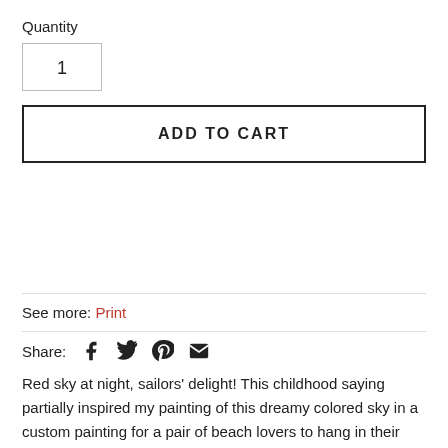Quantity
1
ADD TO CART
See more: Print
Share:
Red sky at night, sailors' delight! This childhood saying partially inspired my painting of this dreamy colored sky in a custom painting for a pair of beach lovers to hang in their vacation home. The panel is intended in their area of maritime beach art or in a